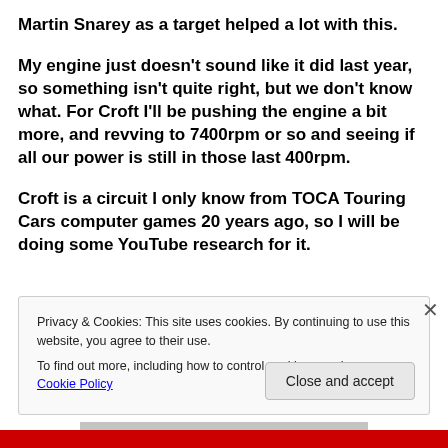Martin Snarey as a target helped a lot with this.
My engine just doesn't sound like it did last year, so something isn't quite right, but we don't know what. For Croft I'll be pushing the engine a bit more, and revving to 7400rpm or so and seeing if all our power is still in those last 400rpm.
Croft is a circuit I only know from TOCA Touring Cars computer games 20 years ago, so I will be doing some YouTube research for it.
Privacy & Cookies: This site uses cookies. By continuing to use this website, you agree to their use.
To find out more, including how to control cookies, see here: Cookie Policy